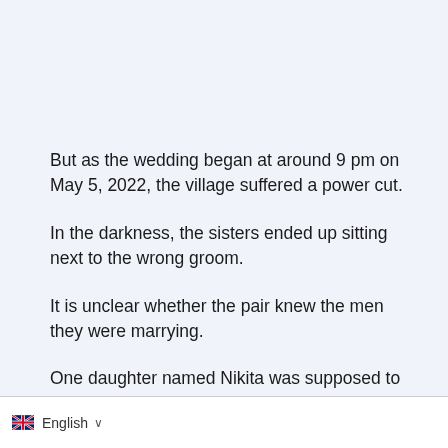But as the wedding began at around 9 pm on May 5, 2022, the village suffered a power cut.
In the darkness, the sisters ended up sitting next to the wrong groom.
It is unclear whether the pair knew the men they were marrying.
One daughter named Nikita was supposed to marry a man named Bhola. However, she accidentally swapped grooms with her sister Karishma, who was set to marry ......... ... grooms were not related.
Amid the confusion, the priest continued with the